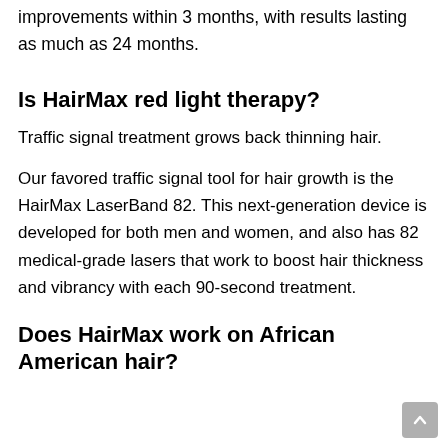improvements within 3 months, with results lasting as much as 24 months.
Is HairMax red light therapy?
Traffic signal treatment grows back thinning hair.
Our favored traffic signal tool for hair growth is the HairMax LaserBand 82. This next-generation device is developed for both men and women, and also has 82 medical-grade lasers that work to boost hair thickness and vibrancy with each 90-second treatment.
Does HairMax work on African American hair?